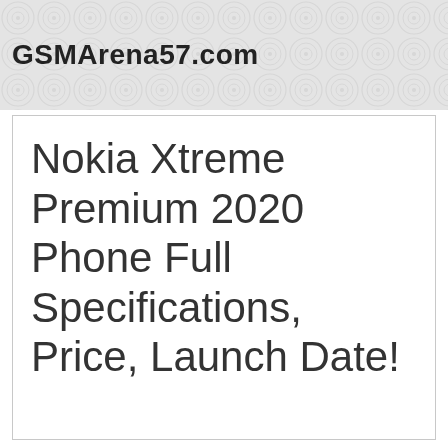GSMArena57.com
Nokia Xtreme Premium 2020 Phone Full Specifications, Price, Launch Date!